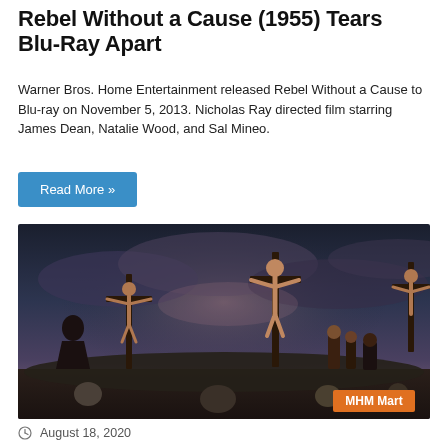Rebel Without a Cause (1955) Tears Blu-Ray Apart
Warner Bros. Home Entertainment released Rebel Without a Cause to Blu-ray on November 5, 2013. Nicholas Ray directed film starring James Dean, Natalie Wood, and Sal Mineo.
Read More »
[Figure (photo): A dramatic scene showing figures on crosses against a dark cloudy sky, with groups of figures at the base. An orange 'MHM Mart' label appears in the bottom-right corner of the image.]
August 18, 2020